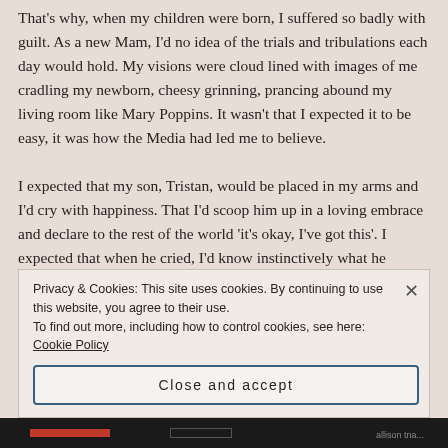That's why, when my children were born, I suffered so badly with guilt. As a new Mam, I'd no idea of the trials and tribulations each day would hold. My visions were cloud lined with images of me cradling my newborn, cheesy grinning, prancing abound my living room like Mary Poppins. It wasn't that I expected it to be easy, it was how the Media had led me to believe.
I expected that my son, Tristan, would be placed in my arms and I'd cry with happiness. That I'd scoop him up in a loving embrace and declare to the rest of the world 'it's okay, I've got this'. I expected that when he cried, I'd know instinctively what he wanted and how to handle him. I expected him to
Privacy & Cookies: This site uses cookies. By continuing to use this website, you agree to their use.
To find out more, including how to control cookies, see here: Cookie Policy
Close and accept